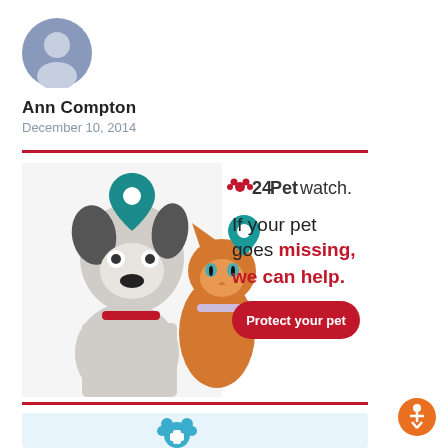[Figure (illustration): Generic user profile avatar icon — gray silhouette of a person inside a blue-gray circle]
Ann Compton
December 10, 2014
[Figure (infographic): 24Petwatch advertisement banner: dog and cat with location pin icons on left; text on right reads '24Petwatch. If your pet goes missing, we can help.' with a red 'Protect your pet' button]
[Figure (illustration): Partial view of a light-blue card with a teal paw print with a medical cross icon at the top center — beginning of another content card]